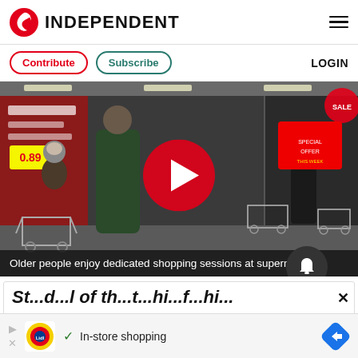INDEPENDENT
Contribute  Subscribe  LOGIN
[Figure (photo): Older people with shopping carts queuing inside a supermarket (Lidl). A large red play button overlay in the center indicates this is a video thumbnail.]
Older people enjoy dedicated shopping sessions at supermarkets
St...d...l of th...t...hi...f...hi...
In-store shopping (Lidl advertisement)